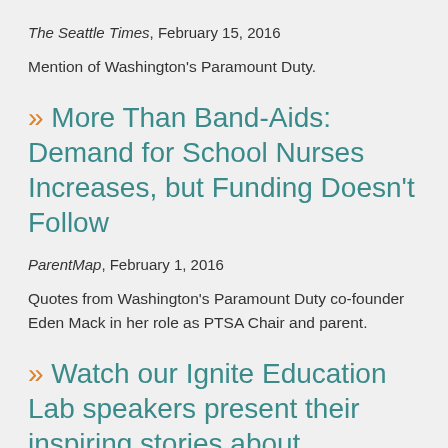The Seattle Times, February 15, 2016
Mention of Washington's Paramount Duty.
» More Than Band-Aids: Demand for School Nurses Increases, but Funding Doesn't Follow
ParentMap, February 1, 2016
Quotes from Washington's Paramount Duty co-founder Eden Mack in her role as PTSA Chair and parent.
» Watch our Ignite Education Lab speakers present their inspiring stories about education